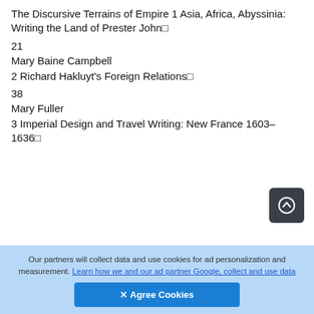The Discursive Terrains of Empire 1 Asia, Africa, Abyssinia: Writing the Land of Prester John□
21
Mary Baine Campbell
2 Richard Hakluyt's Foreign Relations□
38
Mary Fuller
3 Imperial Design and Travel Writing: New France 1603–1636□
Our partners will collect data and use cookies for ad personalization and measurement. Learn how we and our ad partner Google, collect and use data
✕ Agree Cookies